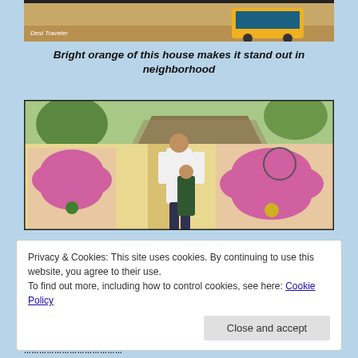[Figure (photo): Top portion of a photo showing a yellow auto-rickshaw and road scene, with 'Desi Traveler' watermark overlay]
Bright orange of this house makes it stand out in neighborhood
[Figure (photo): A man in a white shirt holds the hand of a young child in front of a colorful painted gate/wall with pink decorative designs and religious imagery; green hose visible in background with trees and thatched roof structure]
Privacy & Cookies: This site uses cookies. By continuing to use this website, you agree to their use.
To find out more, including how to control cookies, see here: Cookie Policy
Close and accept
...